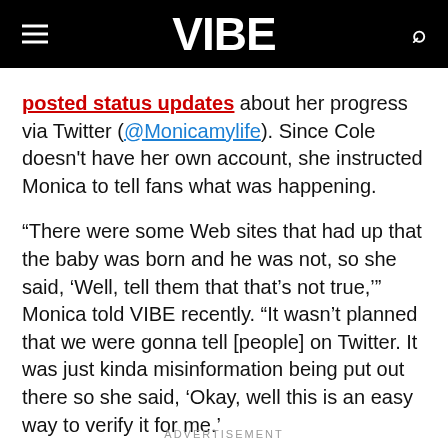VIBE
posted status updates about her progress via Twitter (@Monicamylife). Since Cole doesn't have her own account, she instructed Monica to tell fans what was happening.
“There were some Web sites that had up that the baby was born and he was not, so she said, ‘Well, tell them that that’s not true,’” Monica told VIBE recently. “It wasn’t planned that we were gonna tell [people] on Twitter. It was just kinda misinformation being put out there so she said, ‘Okay, well this is an easy way to verify it for me.’
ADVERTISEMENT